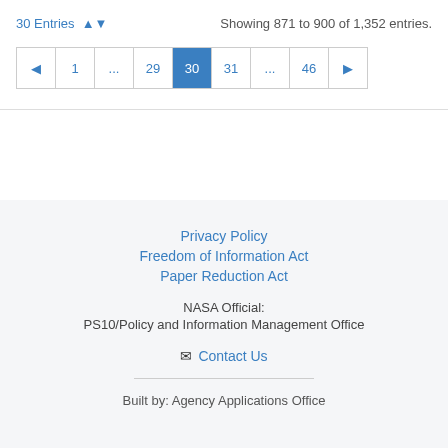30 Entries ▲▼   Showing 871 to 900 of 1,352 entries.
◄ 1 ... 29 30 31 ... 46 ►
Privacy Policy
Freedom of Information Act
Paper Reduction Act
NASA Official:
PS10/Policy and Information Management Office
✉ Contact Us
Built by: Agency Applications Office